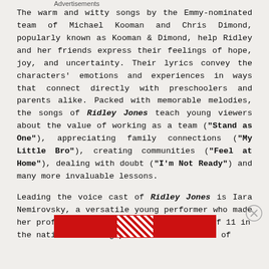The warm and witty songs by the Emmy-nominated team of Michael Kooman and Chris Dimond, popularly known as Kooman & Dimond, help Ridley and her friends express their feelings of hope, joy, and uncertainty. Their lyrics convey the characters' emotions and experiences in ways that connect directly with preschoolers and parents alike. Packed with memorable melodies, the songs of Ridley Jones teach young viewers about the value of working as a team ("Stand as One"), appreciating family connections ("My Little Bro"), creating communities ("Feel at Home"), dealing with doubt ("I'm Not Ready") and many more invaluable lessons.
Leading the voice cast of Ridley Jones is Iara Nemirovsky, a versatile young performer who made her professional stage debut at the age of 11 in the national touring production of School of
Advertisements